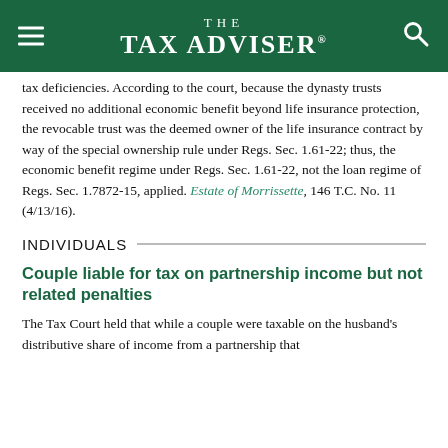THE TAX ADVISER
tax deficiencies. According to the court, because the dynasty trusts received no additional economic benefit beyond life insurance protection, the revocable trust was the deemed owner of the life insurance contract by way of the special ownership rule under Regs. Sec. 1.61-22; thus, the economic benefit regime under Regs. Sec. 1.61-22, not the loan regime of Regs. Sec. 1.7872-15, applied. Estate of Morrissette, 146 T.C. No. 11 (4/13/16).
INDIVIDUALS
Couple liable for tax on partnership income but not related penalties
The Tax Court held that while a couple were taxable on the husband's distributive share of income from a partnership that